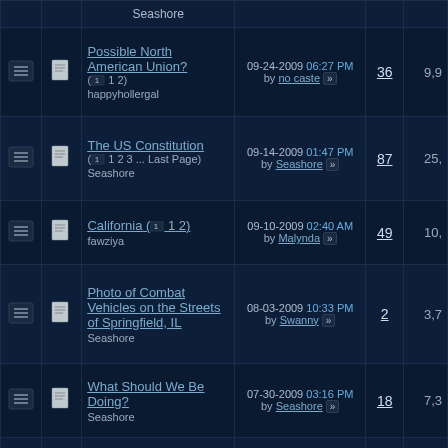|  |  | Thread Title | Last Post | Replies | Views |
| --- | --- | --- | --- | --- | --- |
|  |  | Seashore |  |  |  |
|  |  | Possible North American Union? (1 2)
happyhollergal | 09-24-2009 06:27 PM by no caste | 36 | 9,9 |
|  |  | The US Constitution (1 2 3 ... Last Page)
Seashore | 09-14-2009 01:47 PM by Seashore | 87 | 25, |
|  |  | California (1 2)
fawziya | 09-10-2009 02:40 AM by Malynda | 49 | 10, |
|  |  | Photo of Combat Vehicles on the Streets of Springfield, IL
Seashore | 08-03-2009 10:33 PM by Swanny | 2 | 3,7 |
|  |  | What Should We Be Doing?
Seashore | 07-30-2009 03:16 PM by Seashore | 18 | 7,3 |
|  |  | Hi all! - Texas
Acotco8 | 07-29-2009 07:21 AM by skyrimirre | 7 | 4,4 |
|  |  | Looking for Points of Interest during my move
Lorien | 07-20-2009 01:06 AM by Lorien | 10 | 4,2 |
|  |  | A sustainable community Co... | 07-19-2009 02:17 PM |  |  |